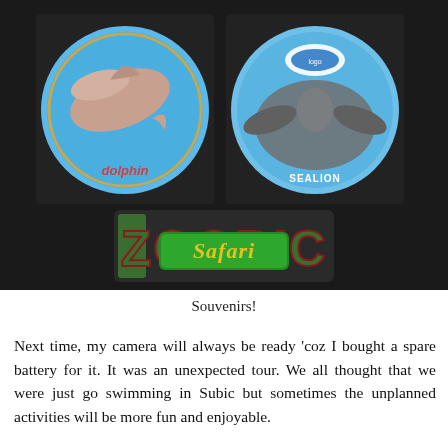[Figure (photo): Photo of two round souvenir badges (dolphin and sealion, both blue) on a dark background, with a Zoo Safari magnet/patch below them.]
Souvenirs!
Next time, my camera will always be ready 'coz I bought a spare battery for it. It was an unexpected tour. We all thought that we were just go swimming in Subic but sometimes the unplanned activities will be more fun and enjoyable.